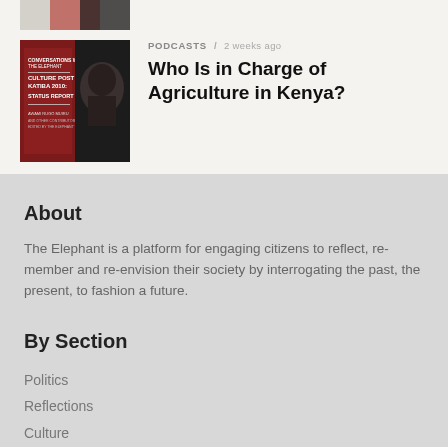[Figure (photo): Partial thumbnail image at top, cropped view of a figure in red and dark tones]
[Figure (photo): Podcast thumbnail showing a book cover titled 'Culture Post Katiba 2010: Status Report' with a person's face on a dark background]
PODCASTS / 2 weeks ago
Who Is in Charge of Agriculture in Kenya?
About
The Elephant is a platform for engaging citizens to reflect, remember and re-envision their society by interrogating the past, the present, to fashion a future.
By Section
Politics
Reflections
Culture